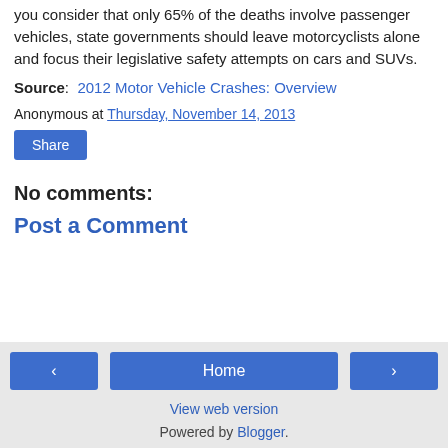you consider that only 65% of the deaths involve passenger vehicles, state governments should leave motorcyclists alone and focus their legislative safety attempts on cars and SUVs.
Source:  2012 Motor Vehicle Crashes: Overview
Anonymous at Thursday, November 14, 2013
Share
No comments:
Post a Comment
‹  Home  ›  View web version  Powered by Blogger.